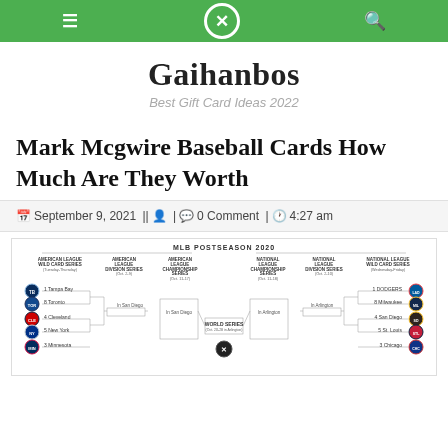Gaihanbos navigation bar
Gaihanbos
Best Gift Card Ideas 2022
Mark Mcgwire Baseball Cards How Much Are They Worth
September 9, 2021 || 0 Comment | 4:27 am
[Figure (infographic): MLB Postseason 2020 bracket showing American League and National League divisions including Wild Card Series, Division Series, Championship Series, and World Series]